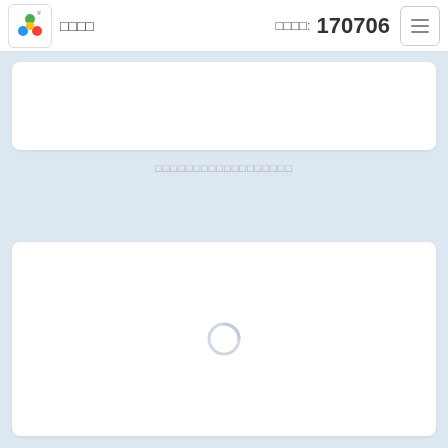□□□□  □□□□: 170706
[Figure (screenshot): White card/panel area at top, empty content region]
□□□□□□□□□□□□□□□□□□
[Figure (screenshot): White card panel with loading spinner icon in center]